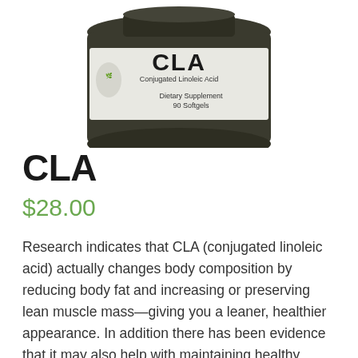[Figure (photo): A dark glass supplement bottle with a label reading 'CLA Conjugated Linoleic Acid, Dietary Supplement, 90 Softgels', shown from the front, cropped at the top]
CLA
$28.00
Research indicates that CLA (conjugated linoleic acid) actually changes body composition by reducing body fat and increasing or preserving lean muscle mass—giving you a leaner, healthier appearance. In addition there has been evidence that it may also help with maintaining healthy blood sugar control and many believe it is helpful as an aid to reduce the risk of breast related issues. Just 1 softgel twice a day can have beneficial effects. *
Potency and Purity Guaranteed!  We use a